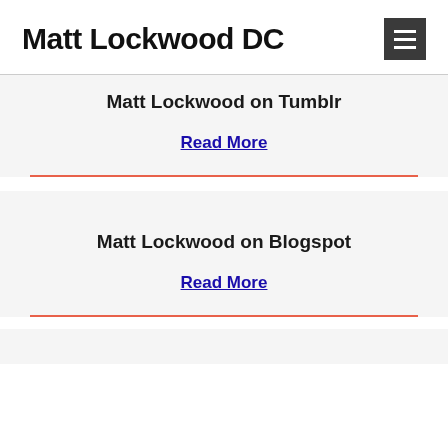Matt Lockwood DC
Matt Lockwood on Tumblr
Read More
Matt Lockwood on Blogspot
Read More